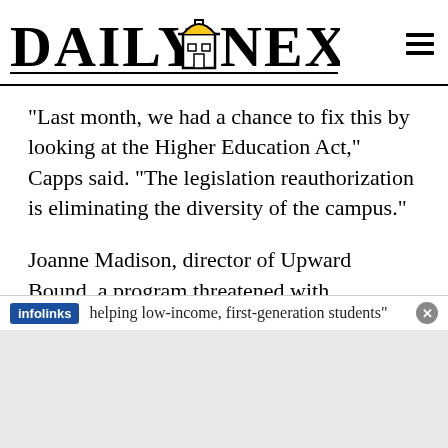DAILY NEXUS
“Last month, we had a chance to fix this by looking at the Higher Education Act,” Capps said. “The legislation reauthorization is eliminating the diversity of the campus.”
Joanne Madison, director of Upward Bound, a program threatened with cancellation because of the cuts, said the program provides valuable assistance to financially disadvantaged students.
helping low-income, first-generation students”